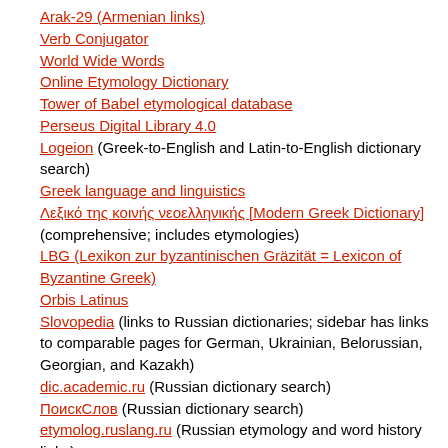Arak-29 (Armenian links)
Verb Conjugator
World Wide Words
Online Etymology Dictionary
Tower of Babel etymological database
Perseus Digital Library 4.0
Logeion (Greek-to-English and Latin-to-English dictionary search)
Greek language and linguistics
Λεξικό της κοινής νεοελληνικής [Modern Greek Dictionary] (comprehensive; includes etymologies)
LBG (Lexikon zur byzantinischen Gräzität = Lexicon of Byzantine Greek)
Orbis Latinus
Slovopedia (links to Russian dictionaries; sidebar has links to comparable pages for German, Ukrainian, Belorussian, Georgian, and Kazakh)
dic.academic.ru (Russian dictionary search)
ПоискСлов (Russian dictionary search)
etymolog.ruslang.ru (Russian etymology and word history links)
Philology.ru